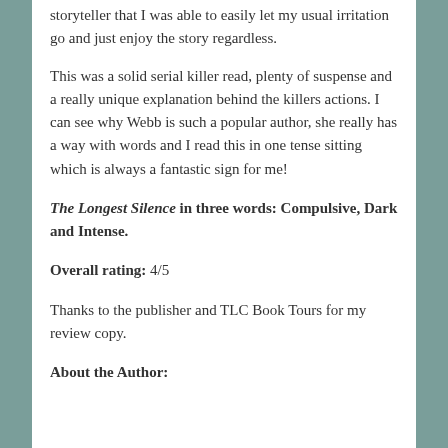storyteller that I was able to easily let my usual irritation go and just enjoy the story regardless.
This was a solid serial killer read, plenty of suspense and a really unique explanation behind the killers actions. I can see why Webb is such a popular author, she really has a way with words and I read this in one tense sitting which is always a fantastic sign for me!
The Longest Silence in three words: Compulsive, Dark and Intense.
Overall rating: 4/5
Thanks to the publisher and TLC Book Tours for my review copy.
About the Author: